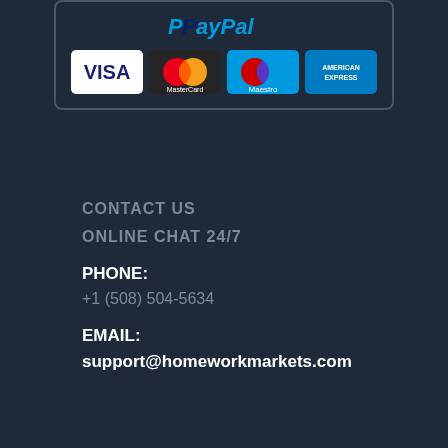[Figure (logo): PayPal payment widget with payment card logos: VISA, MasterCard, Maestro, American Express]
CONTACT US
ONLINE CHAT 24/7
PHONE:
+1 (508) 504-5634
EMAIL:
support@homeworkmarkets.com